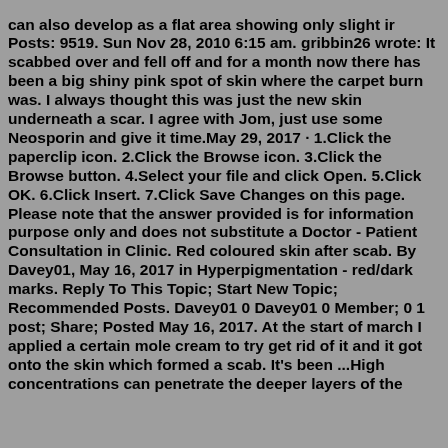can also develop as a flat area showing only slight ir Posts: 9519. Sun Nov 28, 2010 6:15 am. gribbin26 wrote: It scabbed over and fell off and for a month now there has been a big shiny pink spot of skin where the carpet burn was. I always thought this was just the new skin underneath a scar. I agree with Jom, just use some Neosporin and give it time.May 29, 2017 · 1.Click the paperclip icon. 2.Click the Browse icon. 3.Click the Browse button. 4.Select your file and click Open. 5.Click OK. 6.Click Insert. 7.Click Save Changes on this page. Please note that the answer provided is for information purpose only and does not substitute a Doctor - Patient Consultation in Clinic. Red coloured skin after scab. By Davey01, May 16, 2017 in Hyperpigmentation - red/dark marks. Reply To This Topic; Start New Topic; Recommended Posts. Davey01 0 Davey01 0 Member; 0 1 post; Share; Posted May 16, 2017. At the start of march I applied a certain mole cream to try get rid of it and it got onto the skin which formed a scab. It's been ...High concentrations can penetrate the deeper layers of the